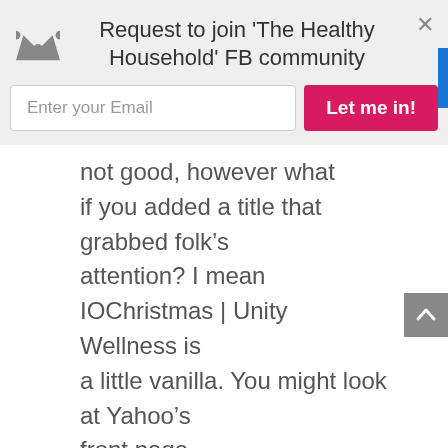Request to join 'The Healthy Household' FB community
Enter your Email
Let me in!
not good, however what if you added a title that grabbed folk’s attention? I mean IOChristmas | Unity Wellness is a little vanilla. You might look at Yahoo’s front page and see how they create news headlines to grab viewers to open the links. You might try adding a video or a related pic or two to get readers excited about what you’ve written. In my